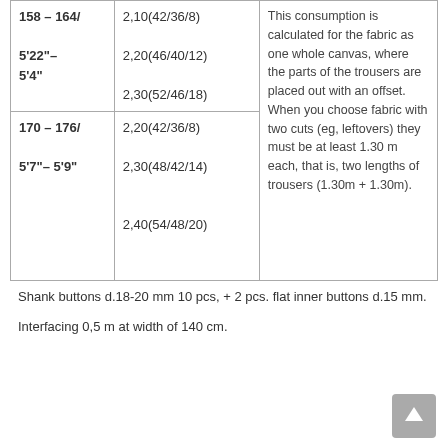| Size | Measurement | Note |
| --- | --- | --- |
| 158 – 164/
5'22"–
5'4" | 2,10(42/36/8)
2,20(46/40/12)
2,30(52/46/18) | This consumption is calculated for the fabric as one whole canvas, where the parts of the trousers are placed out with an offset. When you choose fabric with two cuts (eg, leftovers) they must be at least 1.30 m each, that is, two lengths of trousers (1.30m + 1.30m). |
| 170 – 176/
5'7"– 5'9" | 2,20(42/36/8)
2,30(48/42/14)
2,40(54/48/20) |  |
Shank buttons d.18-20 mm 10 pcs, + 2 pcs. flat inner buttons d.15 mm.
Interfacing 0,5 m at width of 140 cm.